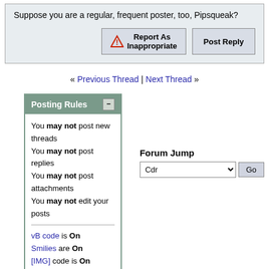Suppose you are a regular, frequent poster, too, Pipsqueak?
[Figure (screenshot): Report As Inappropriate button with warning triangle icon and Post Reply button]
« Previous Thread | Next Thread »
Posting Rules
You may not post new threads
You may not post replies
You may not post attachments
You may not edit your posts
vB code is On
Smilies are On
[IMG] code is On
HTML code is Off
Forum Jump
Cdr (dropdown) Go
Similar Threads
| Thread | Thread Starter | Forum | Replies | Last Post |
| --- | --- | --- | --- | --- |
| Nero 6 Burn Rom -
[truncated] | Bun Mui | Cdr | 0 | January 11th 04 |